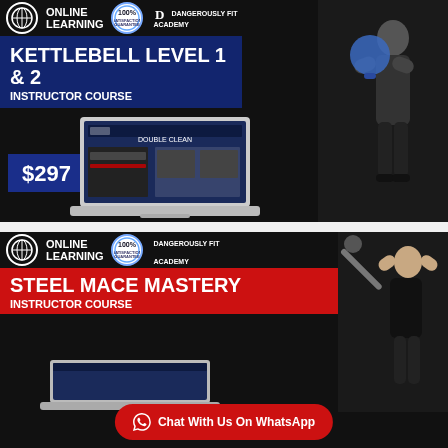[Figure (infographic): Dangerously Fit Academy Online Learning banner for Kettlebell Level 1 & 2 Instructor Course priced at $297, showing a man swinging a kettlebell and a laptop with course content]
[Figure (infographic): Dangerously Fit Academy Online Learning banner for Steel Mace Mastery Instructor Course, showing a man holding a mace behind his head and a Chat With Us On WhatsApp button]